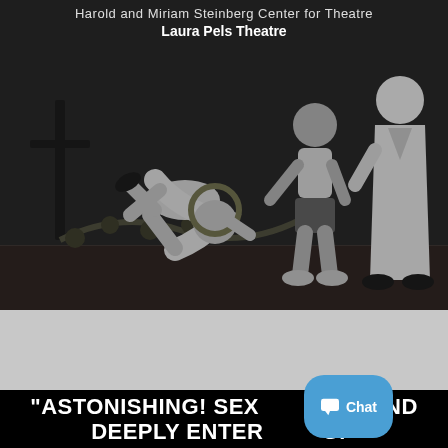Harold and Miriam Steinberg Center for Theatre
Laura Pels Theatre
[Figure (photo): Black and white theatrical stage photo showing performers in period costume. One figure in white dress bending dramatically, another in shorts and light shirt, and a third in a long coat. Stage has floral garland decorations.]
"ASTONISHING! SEXY, FUNNY AND DEEPLY ENTERTAINING."